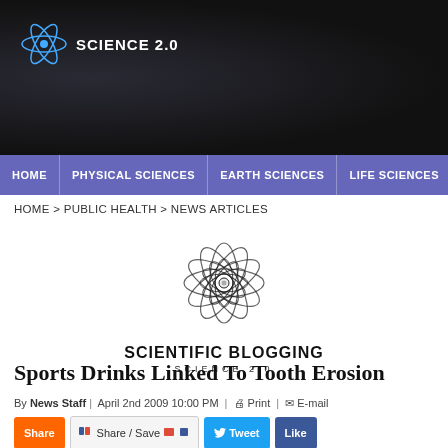[Figure (logo): Science 2.0 atom logo with text 'SCIENCE 2.0' on dark background header]
HOME | PHYSICAL SCIENCES | EARTH SCIENCES | LIFE SCIENCES | MEDICINE
HOME > PUBLIC HEALTH > NEWS ARTICLES
[Figure (logo): Scientific Blogging Science 2.0 atom logo with text 'SCIENTIFIC BLOGGING' and 'SCIENCE 2.0']
Sports Drinks Linked To Tooth Erosion
By News Staff | April 2nd 2009 10:00 PM | Print | E-mail